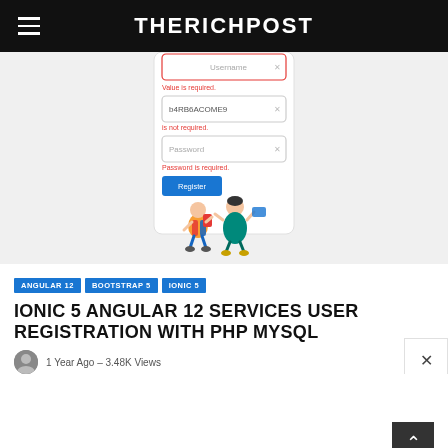THERICHPOST
[Figure (screenshot): Mobile phone screenshot showing an Angular/Ionic registration form with fields for username, password and a Register button, with validation error messages shown. A decorative illustration of two people is shown below the form.]
ANGULAR 12
BOOTSTRAP 5
IONIC 5
IONIC 5 ANGULAR 12 SERVICES USER REGISTRATION WITH PHP MYSQL
1 Year Ago  –  3.48K Views